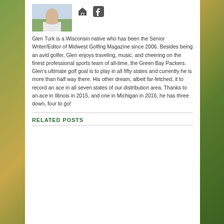[Figure (photo): Author photo of Glen Turk, a man in a white polo shirt outdoors]
[Figure (other): Social media icons: home/website icon and Facebook icon]
Glen Turk is a Wisconsin native who has been the Senior Writer/Editor of Midwest Golfing Magazine since 2006. Besides being an avid golfer, Glen enjoys traveling, music, and cheering on the finest professional sports team of all-time, the Green Bay Packers. Glen’s ultimate golf goal is to play in all fifty states and currently he is more than half way there. His other dream, albeit far-fetched, it to record an ace in all seven states of our distribution area. Thanks to an ace in Illinois in 2015, and one in Michigan in 2016, he has three down, four to go!
RELATED POSTS